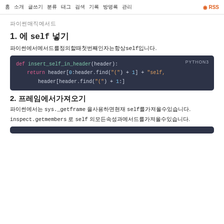홈  소개  글쓰기  분류  태그  검색  기록  방명록  관리  RSS
파이썬매직메서드
1. 에 self 넣기
파이썬에서메서드를정의할때첫번째인자는항상self입니다.
[Figure (screenshot): Python3 code block showing def insert_self_in_header(header): return header[0:header.find("(") + 1] + "self, " + header[header.find("(") + 1:]]
2. 프레임에서가져오기
파이썬에서는 sys._getframe 을사용하면현재 self를가져올수있습니다.
inspect.getmembers 로 self 의모든속성과메서드를가져올수있습니다.